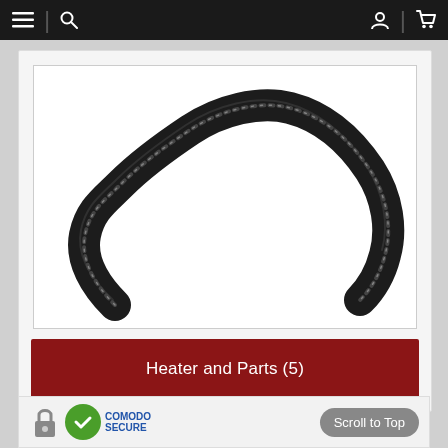Navigation bar with menu, search, user account, and cart icons
[Figure (photo): A black flexible corrugated heater hose shaped in an arch/U-curve against a white background]
Heater and Parts (5)
[Figure (logo): Comodo Secure badge with thumbs up icon and padlock]
Scroll to Top